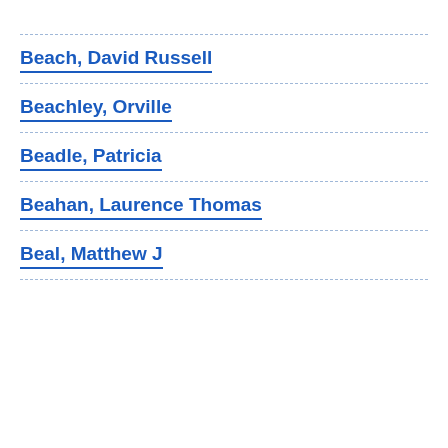Beach, David Russell
Beachley, Orville
Beadle, Patricia
Beahan, Laurence Thomas
Beal, Matthew J